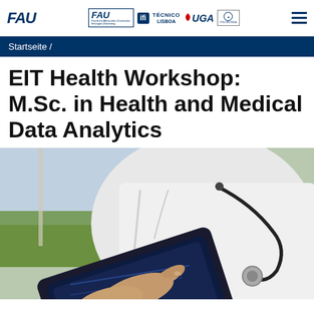FAU | FAU Friedrich-Alexander-Universität Erlangen-Nürnberg | ifi | TÉCNICO LISBOA | UGA | POLITÉCNICA
Startseite /
EIT Health Workshop: M.Sc. in Health and Medical Data Analytics
[Figure (photo): A person in a white lab coat with a stethoscope around their neck using a tablet device, with a window and green outdoor scenery in the background.]